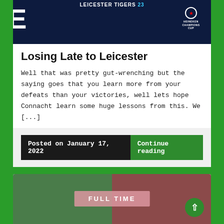[Figure (screenshot): Dark navy background scoreboard image showing LEICESTER TIGERS 23 text with Heineken Champions Cup logo and large white letters on the left]
Losing Late to Leicester
Well that was pretty gut-wrenching but the saying goes that you learn more from your defeats than your victories, well lets hope Connacht learn some huge lessons from this. We [...]
Posted on January 17, 2022
Continue reading
[Figure (screenshot): Full Time banner overlay on a green and red split background image]